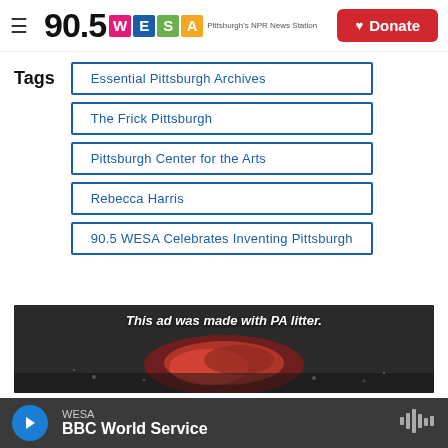90.5 WESA — Pittsburgh's NPR News Station | Donate
Essential Pittsburgh Archives
The Frick Pittsburgh
Pittsburgh Center for the Arts
Rebecca Harris
90.5 WESA Celebrates Inventing Pittsburgh
[Figure (photo): Advertisement image with text 'This ad was made with PA litter.' showing red crumpled material on dark background]
WESA — BBC World Service (player bar)